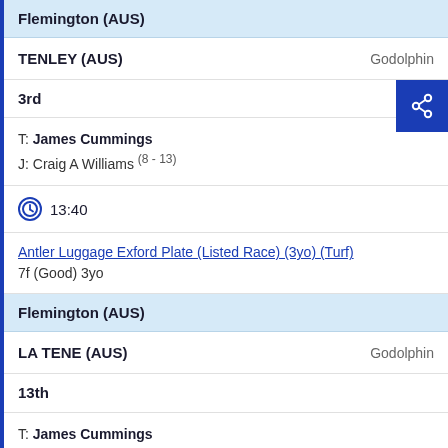Flemington (AUS)
TENLEY (AUS)    Godolphin
3rd
T: James Cummings
J: Craig A Williams (8 - 13)
13:40
Antler Luggage Exford Plate (Listed Race) (3yo) (Turf)
7f (Good) 3yo
Flemington (AUS)
LA TENE (AUS)    Godolphin
13th
T: James Cummings
J: Dwayne Dunn (8 - 13)